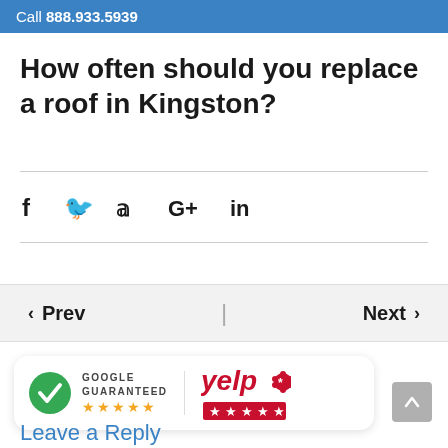Call 888.933.5939
How often should you replace a roof in Kingston?
[Figure (infographic): Social media share icons: Facebook (f), Twitter (bird), Google+ (G+), LinkedIn (in)]
[Figure (infographic): Navigation bar with Prev and Next links]
[Figure (infographic): Google Guaranteed badge with green checkmark and 5 orange stars, Yelp badge with logo and 5 red stars]
Leave a Reply